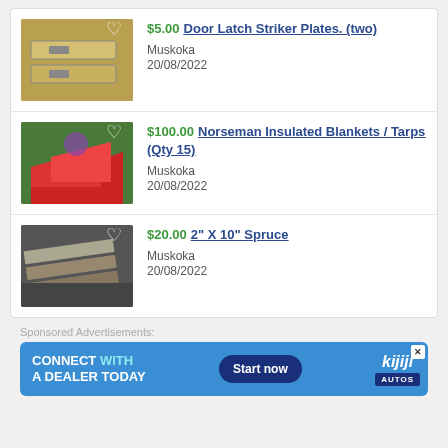[Figure (photo): Photo of two metal door latch striker plates on a yellow/gold background]
$5.00 Door Latch Striker Plates. (two)
Muskoka
20/08/2022
[Figure (photo): Photo of red insulated blankets/tarps laid out outdoors on ground]
$100.00 Norseman Insulated Blankets / Tarps (Qty 15)
Muskoka
20/08/2022
[Figure (photo): Photo of several spruce lumber boards stacked on ground]
$20.00 2" X 10" Spruce
Muskoka
20/08/2022
Sponsored Advertisements:
[Figure (screenshot): Kijiji Autos advertisement banner: CONNECT WITH A DEALER TODAY - Start now]